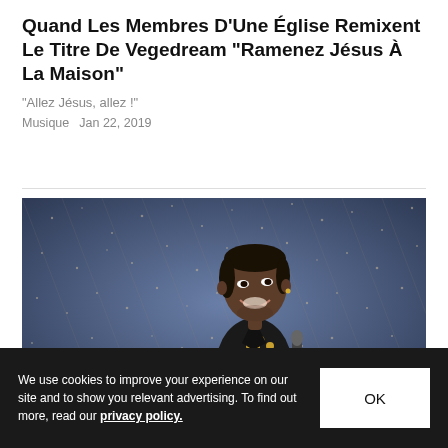Quand Les Membres D'Une Église Remixent Le Titre De Vegedream "Ramenez Jésus À La Maison"
"Allez Jésus, allez !"
Musique   Jan 22, 2019
[Figure (photo): A young Black man smiling, wearing a black and gold ornate jacket, photographed against a sparkling sequined blue background.]
We use cookies to improve your experience on our site and to show you relevant advertising. To find out more, read our privacy policy.